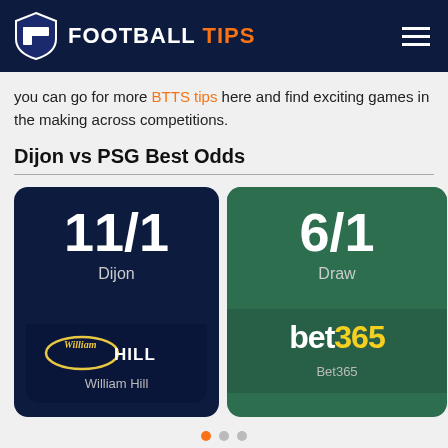FOOTBALL TIPS
you can go for more BTTS tips here and find exciting games in the making across competitions.
Dijon vs PSG Best Odds
[Figure (infographic): Two betting odds cards side by side. Left card (dark navy): 11/1 Dijon, William Hill logo, William Hill label. Right card (dark green): 6/1 Draw, bet365 logo, Bet365 label.]